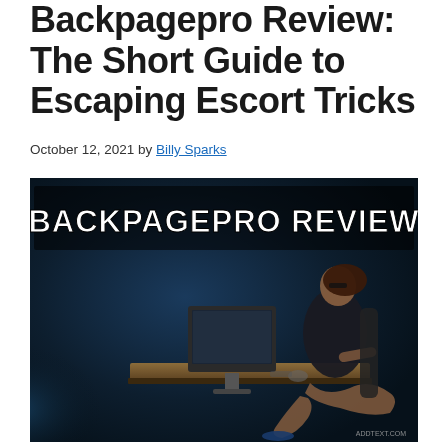Backpagepro Review: The Short Guide to Escaping Escort Tricks
October 12, 2021 by Billy Sparks
[Figure (photo): Promotional image for 'Backpagepro Review' showing bold white text on dark background with a woman seated at a desk with a computer monitor, dark atmospheric lighting. Watermark reads 'ADDTEXT.COM' in bottom right.]